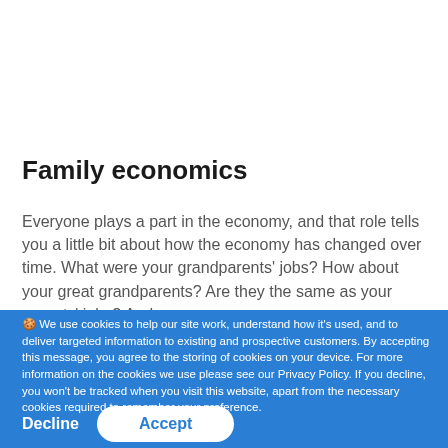[Figure (illustration): Yellow circle partially visible at top center of page, cropped by the page edge]
Family economics
Everyone plays a part in the economy, and that role tells you a little bit about how the economy has changed over time. What were your grandparents' jobs? How about your great grandparents? Are they the same as your parents' jobs? And
🍪 We use cookies to help our site work, understand how it's used, and to deliver targeted information to existing and prospective customers. By accepting this message, you agree to the storing of cookies on your device. For more information on the cookies we use please see our Privacy Policy. If you decline, you won't be tracked when you visit this website, apart from the necessary cookies required to remember your preference.
Decline
Accept